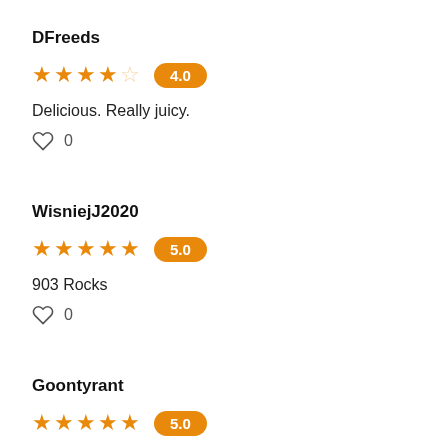DFreeds
4.0 — 4 stars out of 5
Delicious. Really juicy.
♡ 0
WisniejJ2020
5.0 — 5 stars out of 5
903 Rocks
♡ 0
Goontyrant
5.0 — 5 stars out of 5
So delicious every sip is better then the next